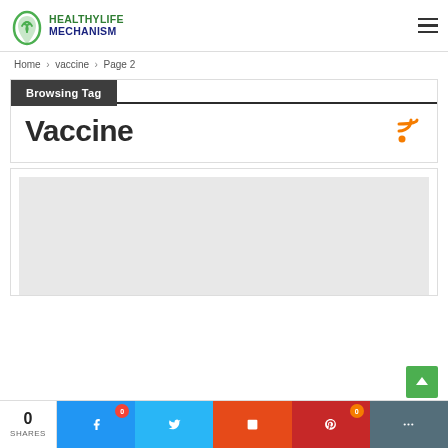[Figure (logo): HealthyLife Mechanism logo with green leaf icon and two-tone text]
Home > vaccine > Page 2
Browsing Tag
Vaccine
[Figure (photo): Article card with light gray placeholder image]
0 SHARES — social share bar with Facebook, Twitter, Reddit, Pinterest, More buttons